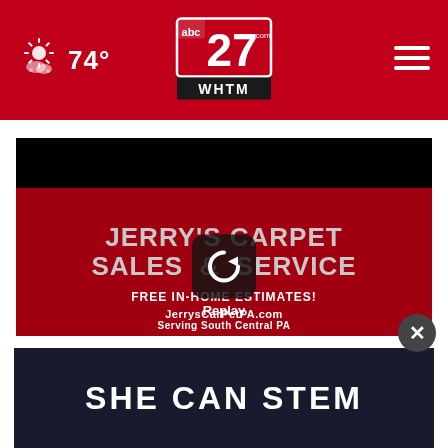74° | abc27 WHTM logo | menu
[Figure (screenshot): Video replay thumbnail showing Jerry's Carpet Sales & Service advertisement on a red background with text: JERRY'S CARPET SALES & SERVICE, FREE IN-HOME ESTIMATES!, JerrysCarPetPA.com, Serving South Central PA. A circular replay button overlay is centered on the video.]
[Figure (screenshot): Advertisement banner with dark navy background showing 'SHE CAN STEM' in large bold white uppercase letters. Close button (×) in upper right.]